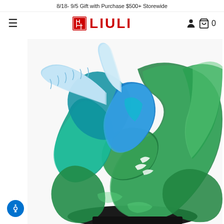8/18- 9/5 Gift with Purchase $500+ Storewide
[Figure (logo): LIULI brand logo with red Chinese seal and red text LIULI]
[Figure (photo): A crystal glass sculpture of a blue phoenix or eagle with spread wings perched on swirling green and teal glass rockery, photographed close-up against white background. The piece features vibrant blue and green hues with intricate details.]
[Figure (other): Accessibility icon - blue circle with white person/wheelchair symbol]